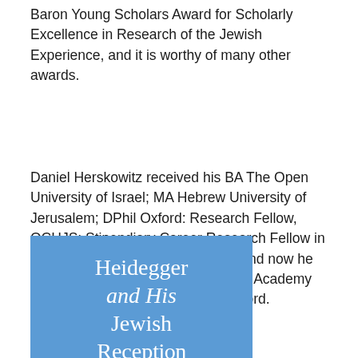Baron Young Scholars Award for Scholarly Excellence in Research of the Jewish Experience, and it is worthy of many other awards.
Daniel Herskowitz received his BA The Open University of Israel; MA Hebrew University of Jerusalem; DPhil Oxford: Research Fellow, OCHJS; Stipendiary Career Research Fellow in Jewish Studies, Wolfson College, and now he was awarded the prestigious British Academy fellowship which he will take at Oxford.
[Figure (illustration): Book cover with blue background showing the title 'Heidegger and His Jewish Reception' in white serif font, with part of the text visible]